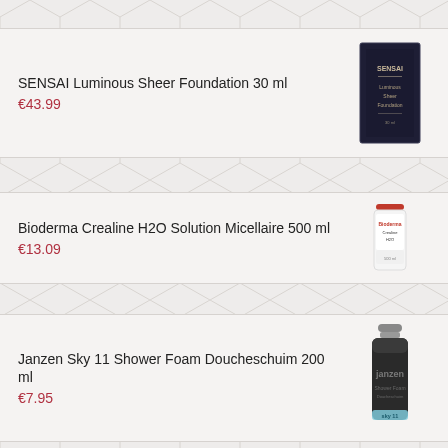SENSAI Luminous Sheer Foundation 30 ml
€43.99
[Figure (photo): SENSAI Luminous Sheer Foundation product box, dark navy blue packaging]
Bioderma Crealine H2O Solution Micellaire 500 ml
€13.09
[Figure (photo): Bioderma Crealine H2O Solution Micellaire bottle, white bottle with pink cap]
Janzen Sky 11 Shower Foam Doucheschuim 200 ml
€7.95
[Figure (photo): Janzen Sky 11 Shower Foam Doucheschuim aerosol can, dark grey/black with silver cap and light blue stripe at bottom]